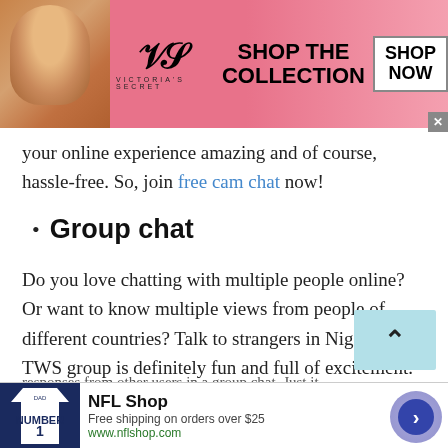[Figure (screenshot): Victoria's Secret advertisement banner with model, VS logo, 'SHOP THE COLLECTION' text, and 'SHOP NOW' button on pink background]
your online experience amazing and of course, hassle-free. So, join free cam chat now!
Group chat
Do you love chatting with multiple people online? Or want to know multiple views from people of different countries? Talk to strangers in Niger via the TWS group is definitely fun and full of excitement. At TWS you have a medium to get different
[Figure (screenshot): NFL Shop advertisement with Dallas Cowboys jersey image, 'Free shipping on orders over $25', www.nflshop.com, close button and navigation arrow]